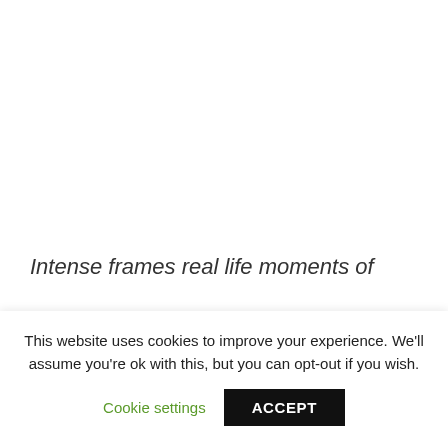Intense frames real life moments of
This website uses cookies to improve your experience. We'll assume you're ok with this, but you can opt-out if you wish.
Cookie settings
ACCEPT